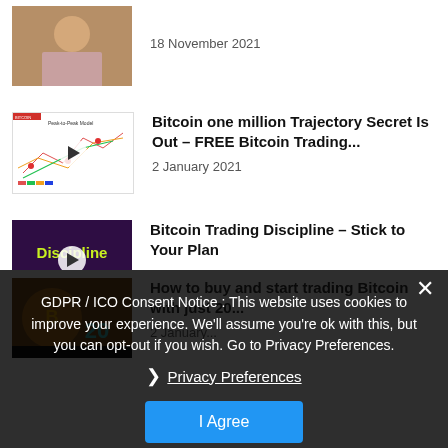[Figure (photo): Thumbnail image of a person, partially visible at top]
18 November 2021
[Figure (screenshot): Thumbnail showing a Bitcoin trajectory chart with colored lines and play button]
Bitcoin one million Trajectory Secret Is Out – FREE Bitcoin Trading...
2 January 2021
[Figure (screenshot): Dark thumbnail with 'Discipline' text in yellow-green and play button]
Bitcoin Trading Discipline – Stick to Your Plan
2 January 2021
GDPR / ICO Consent Notice : This website uses cookies to improve your experience. We'll assume you're ok with this, but you can opt-out if you wish. Go to Privacy Preferences.
Privacy Preferences
I Agree
[Figure (photo): Dark thumbnail showing Bitcoin/crypto trading image with '20' text]
How to buy and start trading Bitcoin with just 20...
2 January...